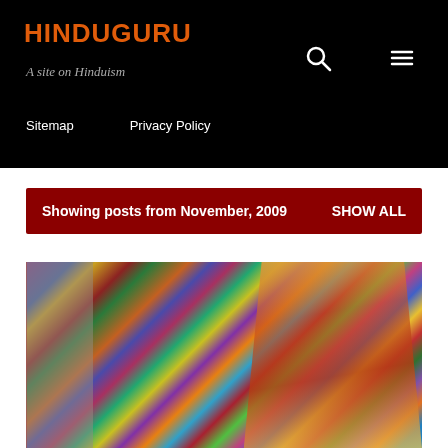HINDUGURU
A site on Hinduism
Sitemap   Privacy Policy
Showing posts from November, 2009   SHOW ALL
[Figure (photo): Colorful image likely showing Hindu religious figures or festival with bright saris and decorative patterns]